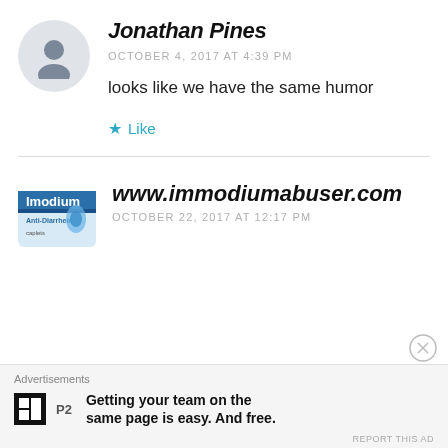[Figure (illustration): User avatar silhouette in a grey circle]
Jonathan Pines
OCTOBER 4, 2017 AT 4:39 PM
looks like we have the same humor
★ Like
[Figure (photo): Imodium Anti-Diarrheal product box logo image]
www.immodiumabuser.com
OCTOBER 22, 2017 AT 12:17 PM
Advertisements
[Figure (logo): P2 by WordPress black square logo]
Getting your team on the same page is easy. And free.